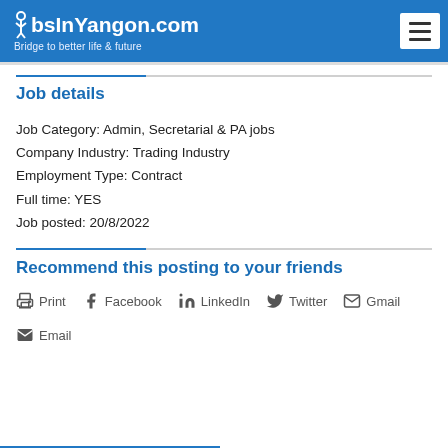JobsInYangon.com — Bridge to better life & future
Job details
Job Category: Admin, Secretarial & PA jobs
Company Industry: Trading Industry
Employment Type: Contract
Full time: YES
Job posted: 20/8/2022
Recommend this posting to your friends
Print   Facebook   LinkedIn   Twitter   Gmail   Email